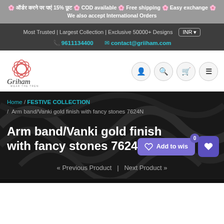🌸 ऑर्डर करने पर पाएं 15% छूट 🌸 COD available 🌸 Free shipping 🌸 Easy exchange 🌸 We also accept International Orders
Most Trusted | Largest Collection | Exclusive 50000+ Designs  INR
9611134400   contact@griiham.com
[Figure (logo): Griham logo - decorative floral/geometric lotus shape in pink/red outline with cursive 'Griham' text and tagline 'WEAR THE TREND']
Home / FESTIVE COLLECTION / Arm band/Vanki gold finish with fancy stones 7624N
Arm band/Vanki gold finish with fancy stones 7624N
Add to wishlist   0
« Previous Product  |  Next Product »